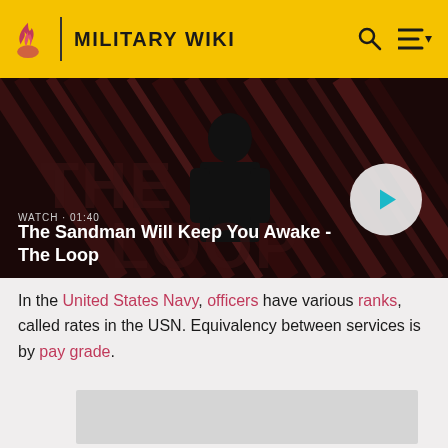MILITARY WIKI
[Figure (screenshot): Video thumbnail showing 'The Sandman Will Keep You Awake - The Loop', duration 01:40, with a dark patterned background and a play button.]
In the United States Navy, officers have various ranks, called rates in the USN. Equivalency between services is by pay grade.
[Figure (other): Advertisement placeholder (grey rectangle)]